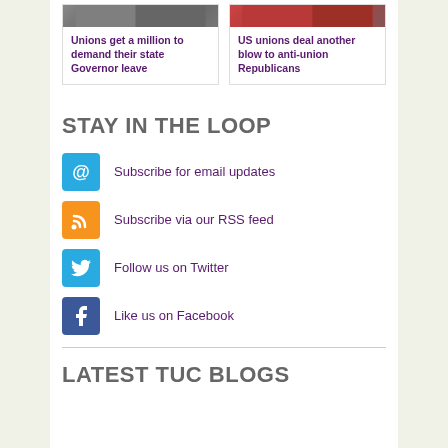[Figure (photo): Two news article cards each with a thumbnail photo at top. Left card shows crowd photo; right card shows people at event.]
Unions get a million to demand their state Governor leave
US unions deal another blow to anti-union Republicans
STAY IN THE LOOP
Subscribe for email updates
Subscribe via our RSS feed
Follow us on Twitter
Like us on Facebook
LATEST TUC BLOGS